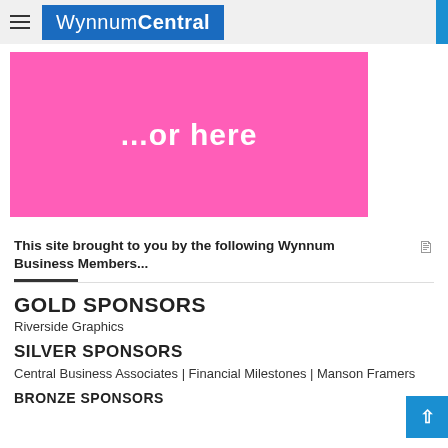WynnumCentral
[Figure (infographic): Pink banner with white bold text reading '...or here']
This site brought to you by the following Wynnum Business Members...
GOLD SPONSORS
Riverside Graphics
SILVER SPONSORS
Central Business Associates | Financial Milestones | Manson Framers
BRONZE SPONSORS